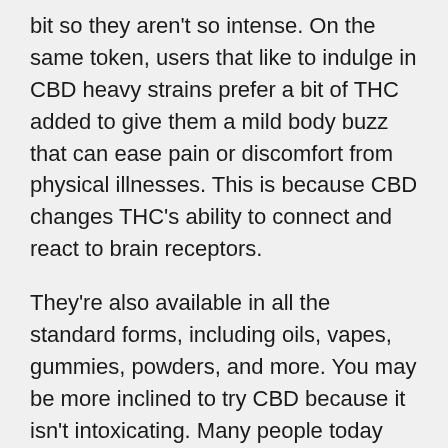bit so they aren't so intense. On the same token, users that like to indulge in CBD heavy strains prefer a bit of THC added to give them a mild body buzz that can ease pain or discomfort from physical illnesses. This is because CBD changes THC's ability to connect and react to brain receptors.
They're also available in all the standard forms, including oils, vapes, gummies, powders, and more. You may be more inclined to try CBD because it isn't intoxicating. Many people today are interested in cannabis for its healing and therapeutic properties rather than for the euphoric effects; it's becoming a mode for improving health and wellness above all else. CBD offers a wide variety of health benefits, yet it doesn't bind as well with the CB1 and CB2 receptors in the endocannabinoid system.
For example, a 100mg delta-8 edible is a decent starting point for seasoned users with a high tolerance. Likewise, smoking two delta-8 joints is enough to induce quite a significant euphoric high. My mother who isn't a frequent cannabis user